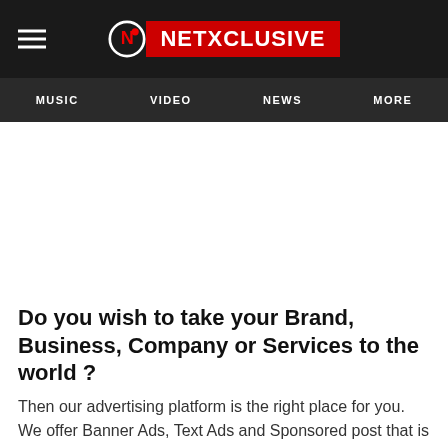NETXCLUSIVE
MUSIC  VIDEO  NEWS  MORE
Do you wish to take your Brand, Business, Company or Services to the world ?
Then our advertising platform is the right place for you. We offer Banner Ads, Text Ads and Sponsored post that is guaranteed to achieve more than you will ever expect as you adverts will be clearly visible on our website home